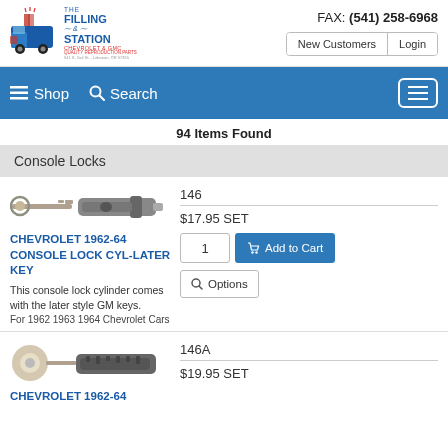FAX: (541) 258-6968 | New Customers | Login | The Filling Station Chevrolet & GMC Quality Reproduction Parts
Shop  Search
94 Items Found
Console Locks
[Figure (photo): Photo of a console lock cylinder with key]
CHEVROLET 1962-64 CONSOLE LOCK CYL-LATER KEY
This console lock cylinder comes with the later style GM keys.
For 1962 1963 1964 Chevrolet Cars
146
$17.95 SET
[Figure (photo): Photo of a console lock cylinder with round key head]
CHEVROLET 1962-64
$19.95 SET
146A